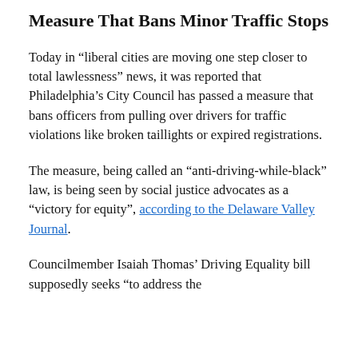Measure That Bans Minor Traffic Stops
Today in “liberal cities are moving one step closer to total lawlessness” news, it was reported that Philadelphia’s City Council has passed a measure that bans officers from pulling over drivers for traffic violations like broken taillights or expired registrations.
The measure, being called an “anti-driving-while-black” law, is being seen by social justice advocates as a “victory for equity”, according to the Delaware Valley Journal.
Councilmember Isaiah Thomas’ Driving Equality bill supposedly seeks “to address the